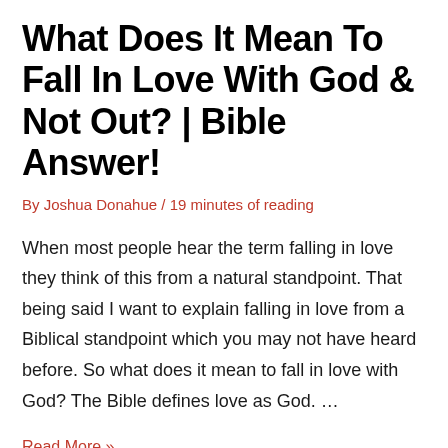What Does It Mean To Fall In Love With God & Not Out? | Bible Answer!
By Joshua Donahue / 19 minutes of reading
When most people hear the term falling in love they think of this from a natural standpoint. That being said I want to explain falling in love from a Biblical standpoint which you may not have heard before. So what does it mean to fall in love with God? The Bible defines love as God. …
Read More »